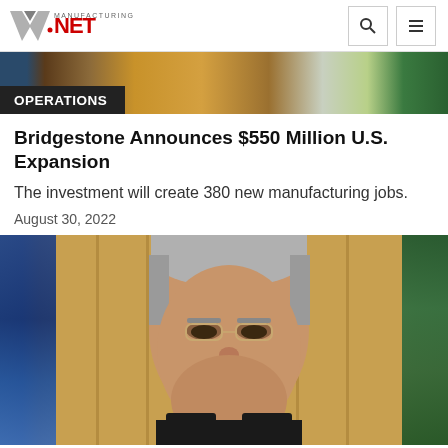Manufacturing.NET
[Figure (photo): Top strip image showing manufacturing-related imagery]
OPERATIONS
Bridgestone Announces $550 Million U.S. Expansion
The investment will create 380 new manufacturing jobs.
August 30, 2022
[Figure (photo): Close-up photo of an older Asian man wearing glasses, appearing to be a Bridgestone executive, with manufacturing background]